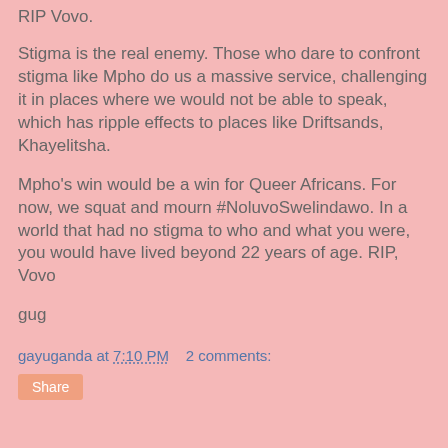RIP Vovo.
Stigma is the real enemy. Those who dare to confront stigma like Mpho do us a massive service, challenging it in places where we would not be able to speak, which has ripple effects to places like Driftsands, Khayelitsha.
Mpho's win would be a win for Queer Africans. For now, we squat and mourn #NoluvoSwelindawo. In a world that had no stigma to who and what you were, you would have lived beyond 22 years of age. RIP, Vovo
gug
gayuganda at 7:10 PM    2 comments: